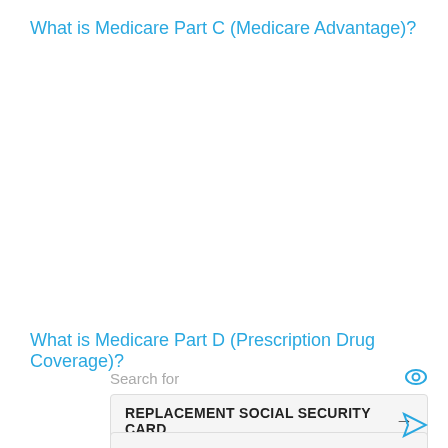What is Medicare Part C (Medicare Advantage)?
What is Medicare Part D (Prescription Drug Coverage)?
Search for
REPLACEMENT SOCIAL SECURITY CARD →
MAKE AN APPOINTMENT →